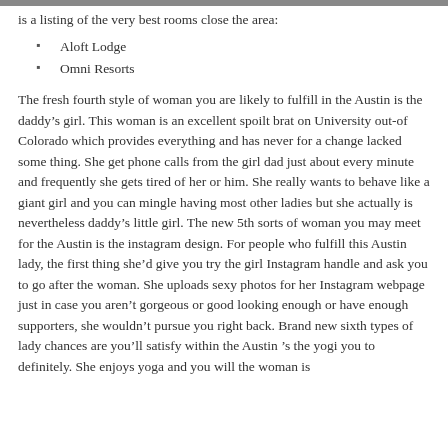is a listing of the very best rooms close the area:
Aloft Lodge
Omni Resorts
The fresh fourth style of woman you are likely to fulfill in the Austin is the daddy’s girl. This woman is an excellent spoilt brat on University out-of Colorado which provides everything and has never for a change lacked some thing. She get phone calls from the girl dad just about every minute and frequently she gets tired of her or him. She really wants to behave like a giant girl and you can mingle having most other ladies but she actually is nevertheless daddy’s little girl. The new 5th sorts of woman you may meet for the Austin is the instagram design. For people who fulfill this Austin lady, the first thing she’d give you try the girl Instagram handle and ask you to go after the woman. She uploads sexy photos for her Instagram webpage just in case you aren’t gorgeous or good looking enough or have enough supporters, she wouldn’t pursue you right back. Brand new sixth types of lady chances are you’ll satisfy within the Austin ’s the yogi you to definitely. She enjoys yoga and you will the woman is